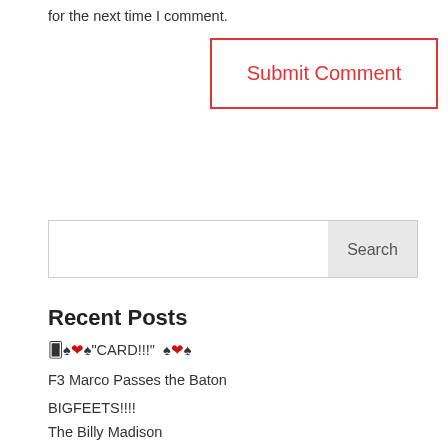for the next time I comment.
Submit Comment
Search
Recent Posts
🂠♠❤♠"CARD!!!"  ♠❤♠
F3 Marco Passes the Baton
BIGFEETS!!!!
The Billy Madison
Have Ruck-Will Travel